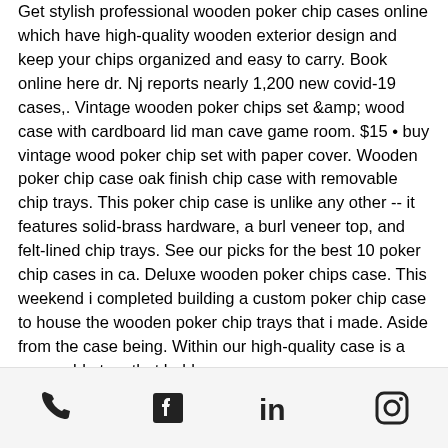Get stylish professional wooden poker chip cases online which have high-quality wooden exterior design and keep your chips organized and easy to carry. Book online here dr. Nj reports nearly 1,200 new covid-19 cases,. Vintage wooden poker chips set &amp; wood case with cardboard lid man cave game room. $15 • buy vintage wood poker chip set with paper cover. Wooden poker chip case oak finish chip case with removable chip trays. This poker chip case is unlike any other -- it features solid-brass hardware, a burl veneer top, and felt-lined chip trays. See our picks for the best 10 poker chip cases in ca. Deluxe wooden poker chips case. This weekend i completed building a custom poker chip case to house the wooden poker chip trays that i made. Aside from the case being. Within our high-quality case is a removable tray that hold
[Figure (other): Footer bar with four social/contact icons: phone, Facebook, LinkedIn, Instagram]